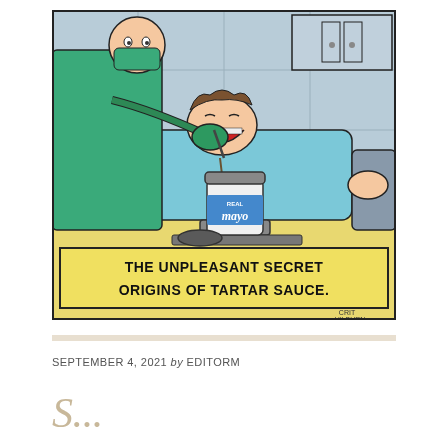[Figure (illustration): Comic strip showing a dentist scraping tartar off a patient's teeth into a jar labeled 'REAL MAYO'. Caption reads: 'THE UNPLEASANT SECRET ORIGINS OF TARTAR SAUCE.' Signed by the artist (CRIT HILBURN or similar).]
SEPTEMBER 4, 2021 by EDITORM
S...